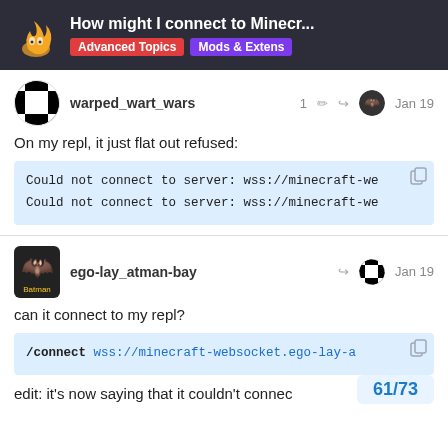How might I connect to Minecr... | Advanced Topics | Mods & Extens
warped_wart_wars — Jan 19
On my repl, it just flat out refused:
Could not connect to server: wss://minecraft-we
Could not connect to server: wss://minecraft-we
ego-lay_atman-bay — Jan 19
can it connect to my repl?
/connect wss://minecraft-websocket.ego-lay-a
edit: it's now saying that it couldn't connec
61/73